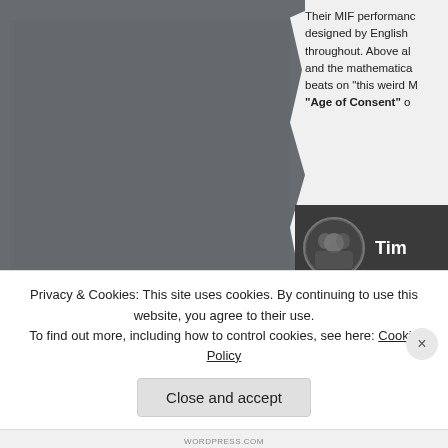[Figure (photo): Torn-edge photograph on left side of page, dark grey/slate toned image with torn paper edge effect on right side]
Their MIF performance designed by English throughout. Above all and the mathematical beats on "this weird M" "Age of Consent" o
[Figure (photo): Embedded media card with dark background showing circular avatar photo of group of people in formal wear and text 'Tim']
Privacy & Cookies: This site uses cookies. By continuing to use this website, you agree to their use.
To find out more, including how to control cookies, see here: Cookie Policy
Close and accept
WORDPRESS.COM